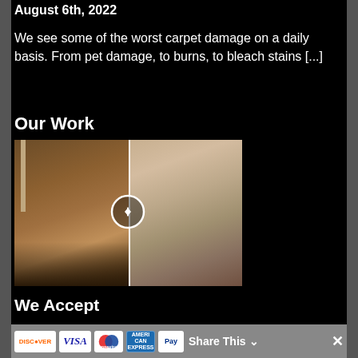August 6th, 2022
We see some of the worst carpet damage on a daily basis. From pet damage, to burns, to bleach stains [...]
Our Work
[Figure (photo): Before/after comparison slider of carpet repair. Left side shows carpet with dark stains/damage, right side shows repaired clean carpet. A white vertical divider line with a circular arrow button separates the two images.]
We Accept
[Figure (infographic): Payment method icons: Discover, Visa, Maestro, American Express, PayPal. Share This button with chevron. Close X button.]